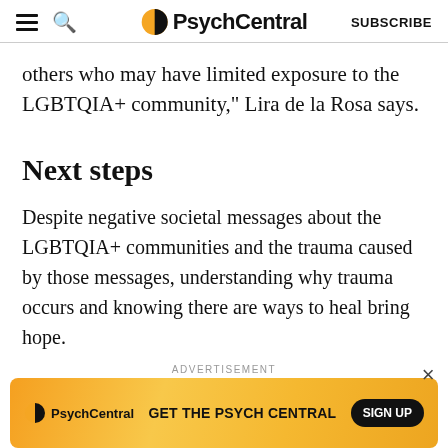PsychCentral — SUBSCRIBE
others who may have limited exposure to the LGBTQIA+ community," Lira de la Rosa says.
Next steps
Despite negative societal messages about the LGBTQIA+ communities and the trauma caused by those messages, understanding why trauma occurs and knowing there are ways to heal bring hope.
To find support and help, you can visit these official sites:
[Figure (screenshot): PsychCentral advertisement banner with orange/yellow gradient background reading 'GET THE PSYCH CENTRAL' with a SIGN UP button]